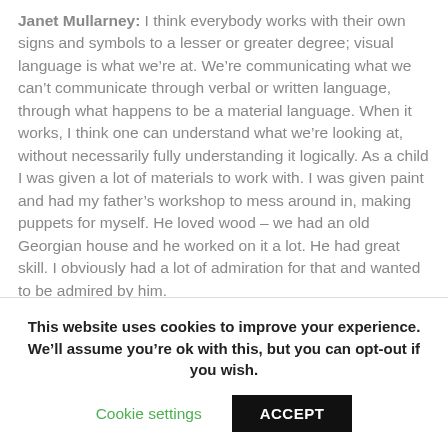Janet Mullarney: I think everybody works with their own signs and symbols to a lesser or greater degree; visual language is what we're at. We're communicating what we can't communicate through verbal or written language, through what happens to be a material language. When it works, I think one can understand what we're looking at, without necessarily fully understanding it logically. As a child I was given a lot of materials to work with. I was given paint and had my father's workshop to mess around in, making puppets for myself. He loved wood – we had an old Georgian house and he worked on it a lot. He had great skill. I obviously had a lot of admiration for that and wanted to be admired by him.
This website uses cookies to improve your experience. We'll assume you're ok with this, but you can opt-out if you wish.
Cookie settings | ACCEPT